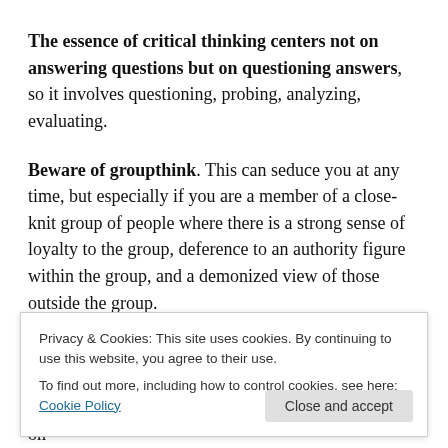The essence of critical thinking centers not on answering questions but on questioning answers, so it involves questioning, probing, analyzing, evaluating.
Beware of groupthink. This can seduce you at any time, but especially if you are a member of a close-knit group of people where there is a strong sense of loyalty to the group, deference to an authority figure within the group, and a demonized view of those outside the group.
Remember the story of the little boy who was the only one
Privacy & Cookies: This site uses cookies. By continuing to use this website, you agree to their use.
To find out more, including how to control cookies, see here: Cookie Policy
when so much evidence shows that it is not (the war on